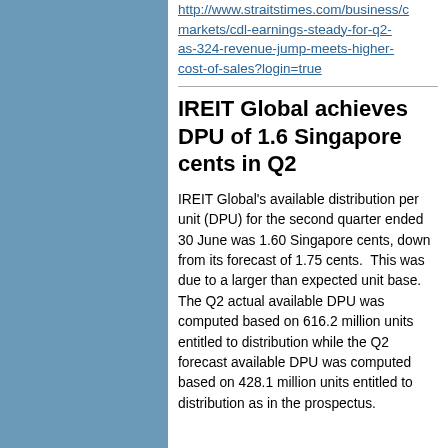http://www.straitstimes.com/business/companies-markets/cdl-earnings-steady-for-q2-as-324-revenue-jump-meets-higher-cost-of-sales?login=true
IREIT Global achieves DPU of 1.6 Singapore cents in Q2
IREIT Global's available distribution per unit (DPU) for the second quarter ended 30 June was 1.60 Singapore cents, down from its forecast of 1.75 cents.  This was due to a larger than expected unit base. The Q2 actual available DPU was computed based on 616.2 million units entitled to distribution while the Q2 forecast available DPU was computed based on 428.1 million units entitled to distribution as in the prospectus.